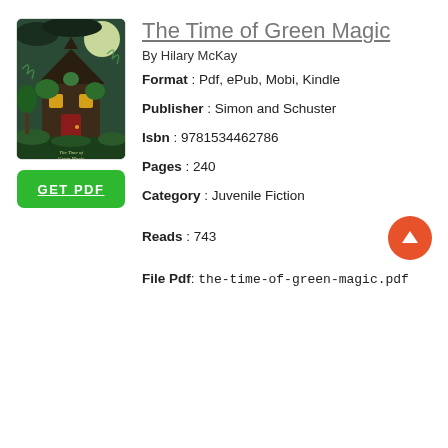[Figure (illustration): Book cover of 'The Time of Green Magic' showing a whimsical illustrated house with greenery and magical atmosphere]
The Time of Green Magic
By Hilary McKay
Format : Pdf, ePub, Mobi, Kindle
Publisher : Simon and Schuster
Isbn : 9781534462786
Pages : 240
Category : Juvenile Fiction
Reads : 743
File Pdf: the-time-of-green-magic.pdf